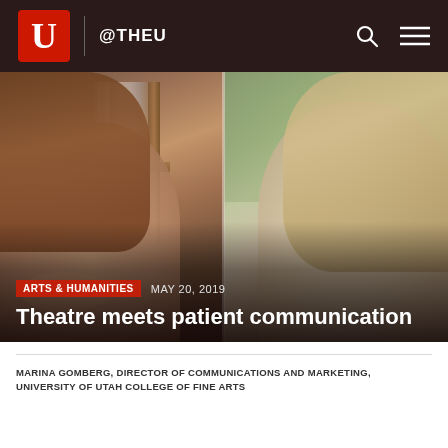@THEU
[Figure (photo): Side-by-side photos of two women; left photo shows a woman smiling with a bookshelf background, right photo shows a woman with light hair outdoors with blurred green background.]
ARTS & HUMANITIES   MAY 20, 2019
Theatre meets patient communication
MARINA GOMBERG, DIRECTOR OF COMMUNICATIONS AND MARKETING, UNIVERSITY OF UTAH COLLEGE OF FINE ARTS